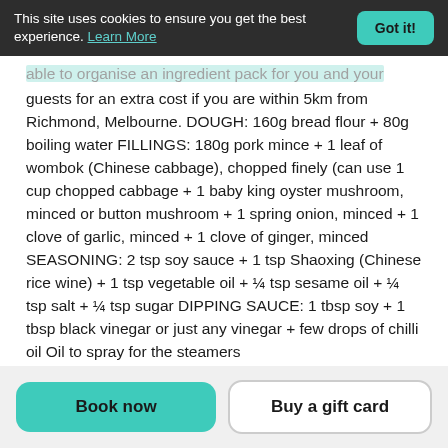This site uses cookies to ensure you get the best experience. Learn More  Got it!
able to organise an ingredient pack for you and your guests for an extra cost if you are within 5km from Richmond, Melbourne. DOUGH: 160g bread flour + 80g boiling water FILLINGS: 180g pork mince + 1 leaf of wombok (Chinese cabbage), chopped finely (can use 1 cup chopped cabbage + 1 baby king oyster mushroom, minced or button mushroom + 1 spring onion, minced + 1 clove of garlic, minced + 1 clove of ginger, minced SEASONING: 2 tsp soy sauce + 1 tsp Shaoxing (Chinese rice wine) + 1 tsp vegetable oil + ¼ tsp sesame oil + ¼ tsp salt + ¼ tsp sugar DIPPING SAUCE: 1 tbsp soy + 1 tbsp black vinegar or just any vinegar + few drops of chilli oil Oil to spray for the steamers
Book now  Buy a gift card